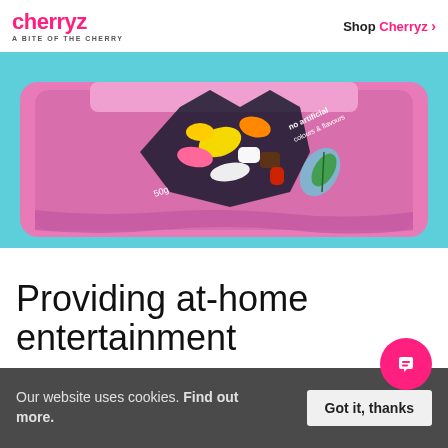cherryz - A BITE OF THE CHERRY | Shop Cherryz >
[Figure (photo): Top-down view of an open purple candy bag filled with mixed sweets on a turquoise background. The bag reads 'no artificial colours & flavours' and '50g'.]
Providing at-home entertainment
Our website uses cookies. Find out more.
Got it, thanks